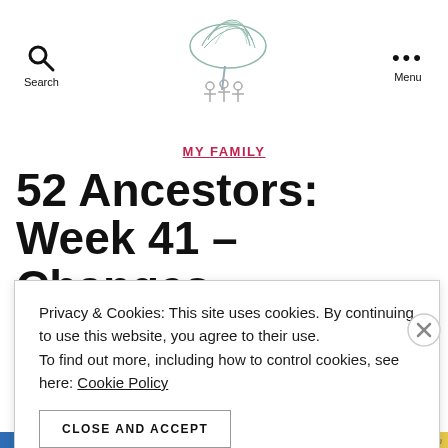Search | [logo] | Menu
[Figure (illustration): Sketch/illustration of a family tree with abstract drawn lines forming a tree canopy and small figures beneath]
MY FAMILY
52 Ancestors: Week 41 – Changes
Privacy & Cookies: This site uses cookies. By continuing to use this website, you agree to their use. To find out more, including how to control cookies, see here: Cookie Policy
CLOSE AND ACCEPT